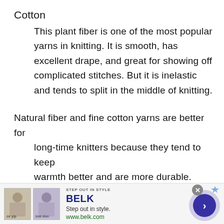Cotton
This plant fiber is one of the most popular yarns in knitting. It is smooth, has excellent drape, and great for showing off complicated stitches. But it is inelastic and tends to split in the middle of knitting.
Natural fiber and fine cotton yarns are better for long-time knitters because they tend to keep warmth better and are more durable.
Take your time whenever you shop for your knitting
[Figure (other): Advertisement banner for Belk department store showing brand logo, tagline 'Step out in style.', website www.belk.com, two clothing images, and a navigation arrow button.]